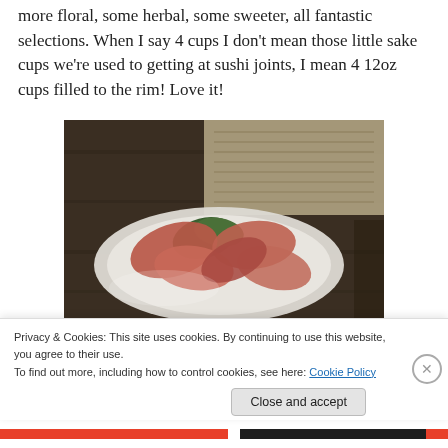more floral, some herbal, some sweeter, all fantastic selections. When I say 4 cups I don't mean those little sake cups we're used to getting at sushi joints, I mean 4 12oz cups filled to the rim! Love it!
[Figure (photo): A white square plate with sashimi (raw fish slices) garnished with green garnish, placed on a dark wooden table. A Japanese menu is visible in the background.]
Privacy & Cookies: This site uses cookies. By continuing to use this website, you agree to their use.
To find out more, including how to control cookies, see here: Cookie Policy
Close and accept